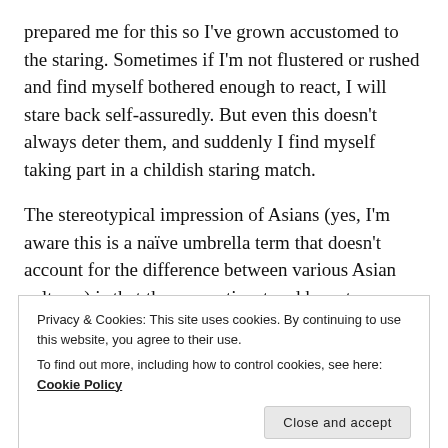prepared me for this so I've grown accustomed to the staring. Sometimes if I'm not flustered or rushed and find myself bothered enough to react, I will stare back self-assuredly. But even this doesn't always deter them, and suddenly I find myself taking part in a childish staring match.
The stereotypical impression of Asians (yes, I'm aware this is a naïve umbrella term that doesn't account for the difference between various Asian cultures) is that they are reticent and keep to themselves. That is something I have experienced in various degrees here,
Privacy & Cookies: This site uses cookies. By continuing to use this website, you agree to their use.
To find out more, including how to control cookies, see here: Cookie Policy
everyone is expected to know, so often when abroad I